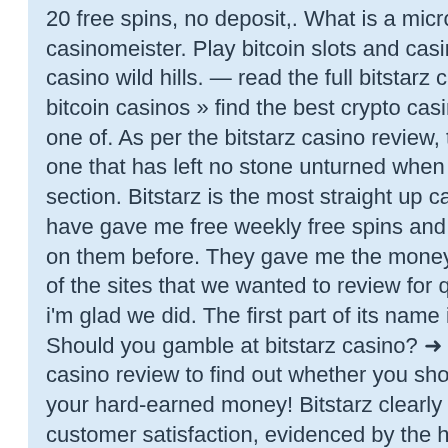20 free spins, no deposit,. What is a micro wallet, bitstarz casinomeister. Play bitcoin slots and casino games online: bitstarz casino wild hills. — read the full bitstarz casino review here! best bitcoin casinos » find the best crypto casino (2021) ; bitstarz is one of. As per the bitstarz casino review, the bitstarz platform is one that has left no stone unturned when it comes to its gaming section. Bitstarz is the most straight up casino i ever played. They have gave me free weekly free spins and i cashed out over 200 on them before. They gave me the money. Bitstarz casino is one of the sites that we wanted to review for quite some time now and i'm glad we did. The first part of its name is derived from bitcoin. Should you gamble at bitstarz casino? → check out our bitstarz casino review to find out whether you should trust this site with your hard-earned money! Bitstarz clearly care greatly about customer satisfaction, evidenced by the huge number